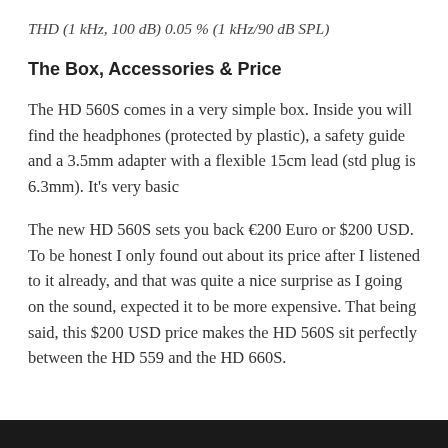THD (1 kHz, 100 dB) 0.05 % (1 kHz/90 dB SPL)
The Box, Accessories & Price
The HD 560S comes in a very simple box. Inside you will find the headphones (protected by plastic), a safety guide and a 3.5mm adapter with a flexible 15cm lead (std plug is 6.3mm). It's very basic
The new HD 560S sets you back €200 Euro or $200 USD. To be honest I only found out about its price after I listened to it already, and that was quite a nice surprise as I going on the sound, expected it to be more expensive. That being said, this $200 USD price makes the HD 560S sit perfectly between the HD 559 and the HD 660S.